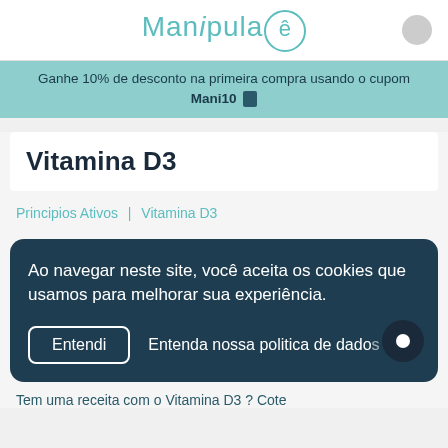Manipula ê
Ganhe 10% de desconto na primeira compra usando o cupom Mani10
Vitamina D3
Principios Ativos | Vitamina D3
Ao navegar neste site, você aceita os cookies que usamos para melhorar sua experiência.
Entendi   Entenda nossa politica de dados
Tem uma receita com o Vitamina D3 ? Cote